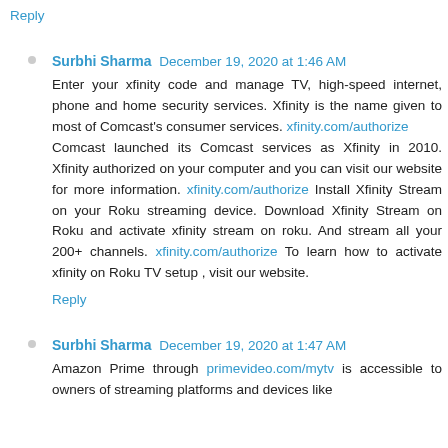Reply
Surbhi Sharma  December 19, 2020 at 1:46 AM
Enter your xfinity code and manage TV, high-speed internet, phone and home security services. Xfinity is the name given to most of Comcast's consumer services. xfinity.com/authorize Comcast launched its Comcast services as Xfinity in 2010. Xfinity authorized on your computer and you can visit our website for more information. xfinity.com/authorize Install Xfinity Stream on your Roku streaming device. Download Xfinity Stream on Roku and activate xfinity stream on roku. And stream all your 200+ channels. xfinity.com/authorize To learn how to activate xfinity on Roku TV setup , visit our website.
Reply
Surbhi Sharma  December 19, 2020 at 1:47 AM
Amazon Prime through primevideo.com/mytv is accessible to owners of streaming platforms and devices like